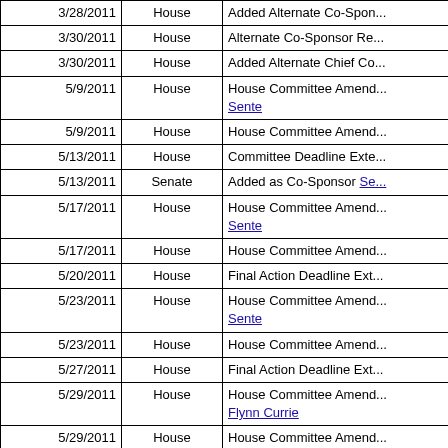| Date | Chamber | Action |
| --- | --- | --- |
| 3/28/2011 | House | Added Alternate Co-Spon... |
| 3/30/2011 | House | Alternate Co-Sponsor Re... |
| 3/30/2011 | House | Added Alternate Chief Co... |
| 5/9/2011 | House | House Committee Amend... Sente |
| 5/9/2011 | House | House Committee Amend... |
| 5/13/2011 | House | Committee Deadline Exte... |
| 5/13/2011 | Senate | Added as Co-Sponsor Se... |
| 5/17/2011 | House | House Committee Amend... Sente |
| 5/17/2011 | House | House Committee Amend... |
| 5/20/2011 | House | Final Action Deadline Ext... |
| 5/23/2011 | House | House Committee Amend... Sente |
| 5/23/2011 | House | House Committee Amend... |
| 5/27/2011 | House | Final Action Deadline Ext... |
| 5/29/2011 | House | House Committee Amend... Flynn Currie |
| 5/29/2011 | House | House Committee Amend... |
| 5/29/2011 | House | House Committee Amend... Committee |
| 5/31/2011 | House | Rule 19(a) / Re-referred t... |
| 5/31/2011 | House | House Committee Amend... |